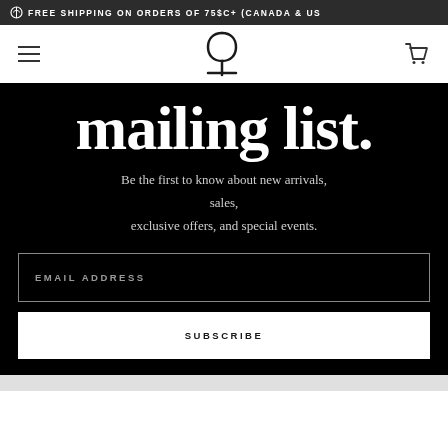⊛ FREE SHIPPING ON ORDERS OF 75$C+ (CANADA & US
[Figure (logo): Brand logo with stylized 'p' letterform and underscore in serif style, navigation bar with hamburger menu icon and shopping cart icon]
mailing list.
Be the first to know about new arrivals, sales, exclusive offers, and special events.
EMAIL ADDRESS
SUBSCRIBE